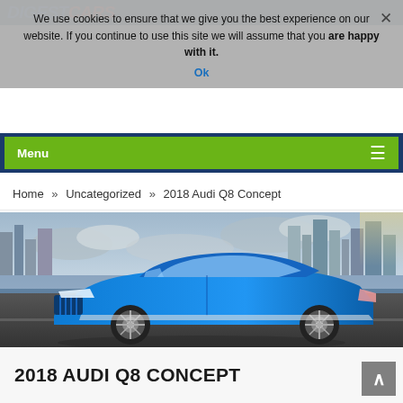DIGESTCARS
We use cookies to ensure that we give you the best experience on our website. If you continue to use this site we will assume that you are happy with it.
Ok
Menu
Home » Uncategorized » 2018 Audi Q8 Concept
[Figure (photo): Blue 2018 Audi Q8 Concept SUV/coupe driving on road with city skyline in background]
2018 AUDI Q8 CONCEPT